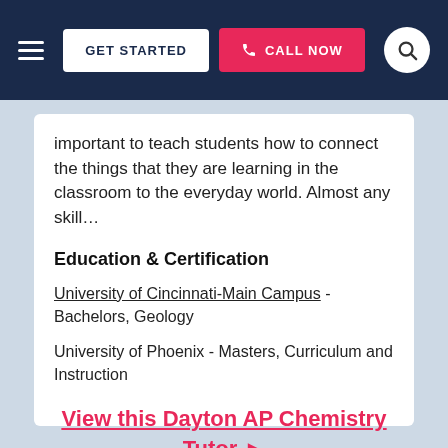GET STARTED  CALL NOW
important to teach students how to connect the things that they are learning in the classroom to the everyday world. Almost any skill…
Education & Certification
University of Cincinnati-Main Campus - Bachelors, Geology
University of Phoenix - Masters, Curriculum and Instruction
View this Dayton AP Chemistry Tutor ►